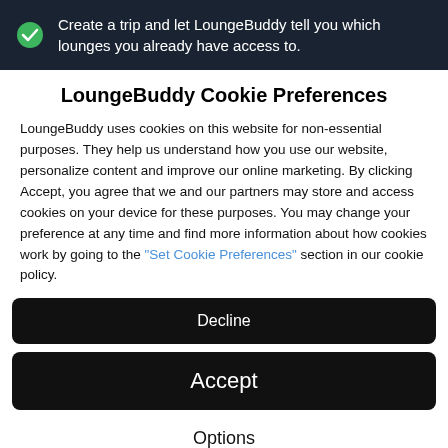Create a trip and let LoungeBuddy tell you which lounges you already have access to.
LoungeBuddy Cookie Preferences
LoungeBuddy uses cookies on this website for non-essential purposes. They help us understand how you use our website, personalize content and improve our online marketing. By clicking Accept, you agree that we and our partners may store and access cookies on your device for these purposes. You may change your preference at any time and find more information about how cookies work by going to the "Set Cookie Preferences" section in our cookie policy.
Decline
Accept
Options